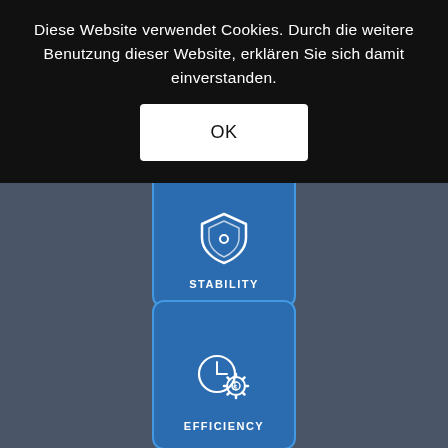Diese Website verwendet Cookies. Durch die weitere Benutzung dieser Website, erklären Sie sich damit einverstanden.
OK
[Figure (infographic): Blue card with shield icon and label STABILITY]
[Figure (infographic): Blue card with clock and gear icon and label EFFICIENCY]